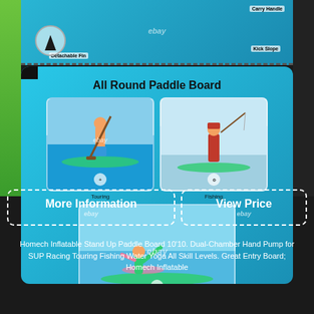[Figure (photo): Top panel showing paddle board features: Detachable Fin circle, Carry Handle label, and slope/kick tail detail on aqua blue background with ebay watermark]
[Figure (infographic): All Round Paddle Board infographic panel with three activity photos: Touring (man standing on SUP with paddle), Fishing (person fishing on frozen water on SUP), and Yoga (woman doing yoga pose on SUP). Labels under each image. Aqua/teal gradient background.]
More Information
View Price
Homech Inflatable Stand Up Paddle Board 10'10. Dual-Chamber Hand Pump for SUP Racing Touring Fishing Water Yoga All Skill Levels. Great Entry Board; Homech Inflatable